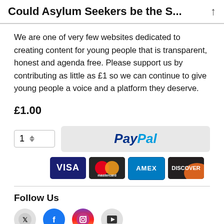Could Asylum Seekers be the S...
We are one of very few websites dedicated to creating content for young people that is transparent, honest and agenda free. Please support us by contributing as little as £1 so we can continue to give young people a voice and a platform they deserve.
£1.00
[Figure (other): Quantity selector showing '1' with up/down arrows, PayPal payment button, and credit card icons (Visa, Mastercard, AMEX, Discover)]
Follow Us
[Figure (other): Row of social media icons partially visible at bottom]